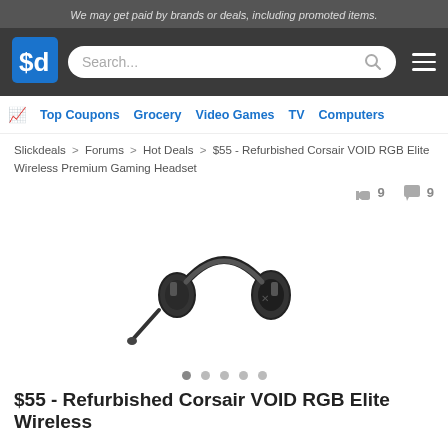We may get paid by brands or deals, including promoted items.
[Figure (logo): Slickdeals logo - blue square with '$d' in white text]
Search...
Top Coupons  Grocery  Video Games  TV  Computers
Slickdeals > Forums > Hot Deals > $55 - Refurbished Corsair VOID RGB Elite Wireless Premium Gaming Headset
👍 9   💬 9
[Figure (photo): Corsair VOID RGB Elite Wireless Premium Gaming Headset in black, shown at an angle with boom microphone]
$55 - Refurbished Corsair VOID RGB Elite Wireless